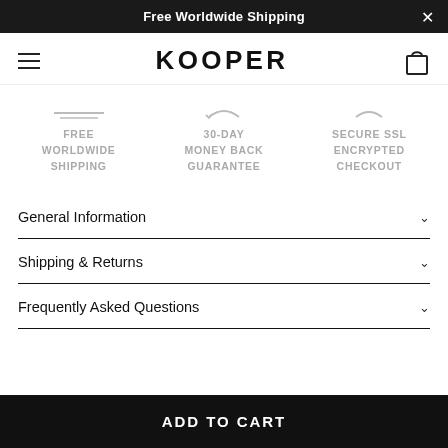Free Worldwide Shipping
[Figure (logo): KOOPER brand logo with hamburger menu and cart icon in navigation bar]
[Figure (infographic): Three trust badges: FREE WORLDWIDE SHIPPING (horizontal lines icon), 30-DAY MONEY BACK GUARANTEE (curved arrow icon), SECURE SSL ENCRYPTED CHECKOUT (lock icon)]
General Information
Shipping & Returns
Frequently Asked Questions
ADD TO CART